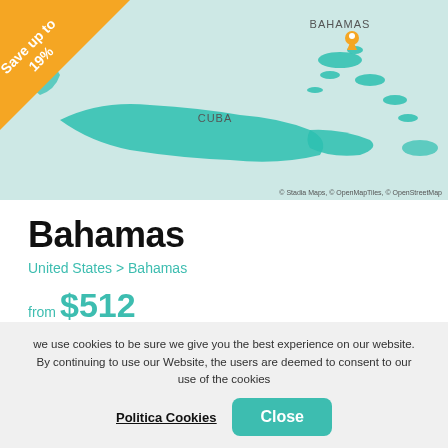[Figure (map): Map showing the Caribbean region with Bahamas and Cuba labeled. Teal/green landmasses on light teal water background. Orange location pin over Bahamas. Orange triangle badge in top-left corner reading 'Save up to 19%'. Attribution: © Stadia Maps, © OpenMapTiles, © OpenStreetMap]
Bahamas
United States > Bahamas
from $512
Tour Operator
Carnival Cruise Line
Ship
Carnival Liberty ®
Depart from
Port Canaveral
Length
4 Nights
we use cookies to be sure we give you the best experience on our website. By continuing to use our Website, the users are deemed to consent to our use of the cookies
Politica Cookies
Close